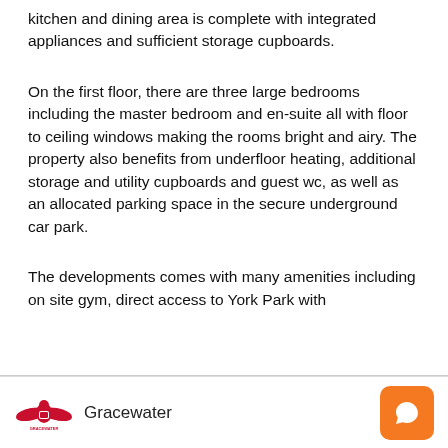kitchen and dining area is complete with integrated appliances and sufficient storage cupboards.
On the first floor, there are three large bedrooms including the master bedroom and en-suite all with floor to ceiling windows making the rooms bright and airy. The property also benefits from underfloor heating, additional storage and utility cupboards and guest wc, as well as an allocated parking space in the secure underground car park.
The developments comes with many amenities including on site gym, direct access to York Park with
Gracewater